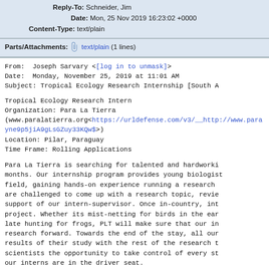Reply-To: Schneider, Jim
Date: Mon, 25 Nov 2019 16:23:02 +0000
Content-Type: text/plain
Parts/Attachments: [clip] text/plain (1 lines)
From: Joseph Sarvary <[log in to unmask]>
Date: Monday, November 25, 2019 at 11:01 AM
Subject: Tropical Ecology Research Internship [South A
Tropical Ecology Research Intern
Organization: Para La Tierra
(www.paralatierra.org<https://urldefense.com/v3/__http://www.para
yne9p5jiA9gLsGZuy33KQw$>)
Location: Pilar, Paraguay
Time Frame: Rolling Applications
Para La Tierra is searching for talented and hardworki
months. Our internship program provides young biologist
field, gaining hands-on experience running a research
are challenged to come up with a research topic, revie
support of our intern-supervisor. Once in-country, int
project. Whether its mist-netting for birds in the ear
late hunting for frogs, PLT will make sure that our in
research forward. Towards the end of the stay, all our
results of their study with the rest of the research t
scientists the opportunity to take control of every st
our interns are in the driver seat.